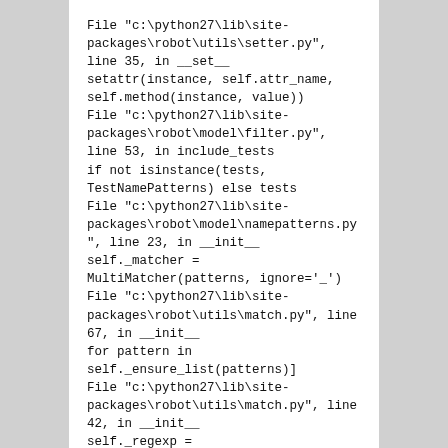File "c:\python27\lib\site-packages\robot\utils\setter.py", line 35, in __set__
setattr(instance, self.attr_name, self.method(instance, value))
File "c:\python27\lib\site-packages\robot\model\filter.py", line 53, in include_tests
if not isinstance(tests, TestNamePatterns) else tests
File "c:\python27\lib\site-packages\robot\model\namepatterns.py", line 23, in __init__
self._matcher = MultiMatcher(patterns, ignore='_')
File "c:\python27\lib\site-packages\robot\utils\match.py", line 67, in __init__
for pattern in self._ensure_list(patterns)]
File "c:\python27\lib\site-packages\robot\utils\match.py", line 42, in __init__
self._regexp = self._compile(self._normalize(pattern), regexp=regexp)